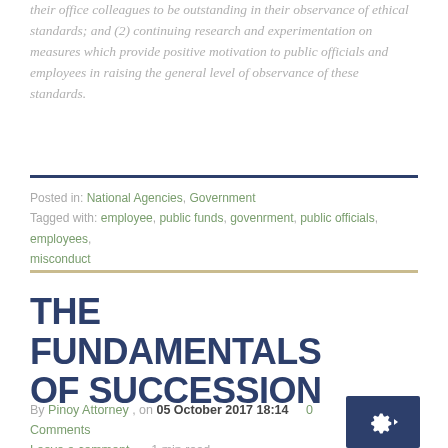their office colleagues to be outstanding in their observance of ethical standards; and (2) continuing research and experimentation on measures which provide positive motivation to public officials and employees in raising the general level of observance of these standards.
Posted in: National Agencies, Government
Tagged with: employee, public funds, govenrment, public officials, employees, misconduct
THE FUNDAMENTALS OF SUCCESSION
By Pinoy Attorney , on 05 October 2017 18:14   0 Comments
Leave a comment   1 min read